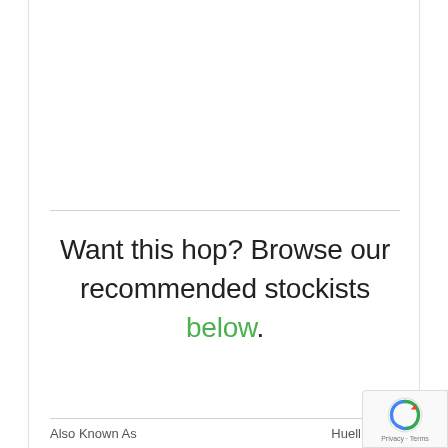Want this hop? Browse our recommended stockists below.
Also Known As   Huell Melon